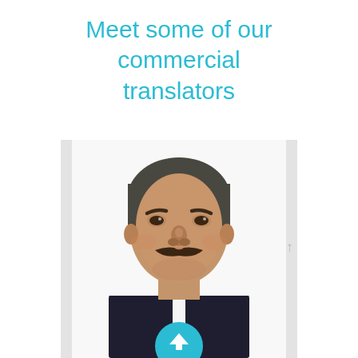Meet some of our commercial translators
[Figure (photo): Headshot portrait of a middle-aged man with dark salt-and-pepper hair, a mustache, wearing a dark suit with white shirt. Light grey background. A teal circular badge appears at the bottom of the photo frame.]